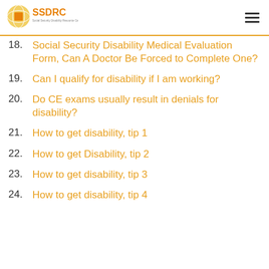SSDRC - Social Security Disability Resource Center
18. Social Security Disability Medical Evaluation Form, Can A Doctor Be Forced to Complete One?
19. Can I qualify for disability if I am working?
20. Do CE exams usually result in denials for disability?
21. How to get disability, tip 1
22. How to get Disability, tip 2
23. How to get disability, tip 3
24. How to get disability, tip 4